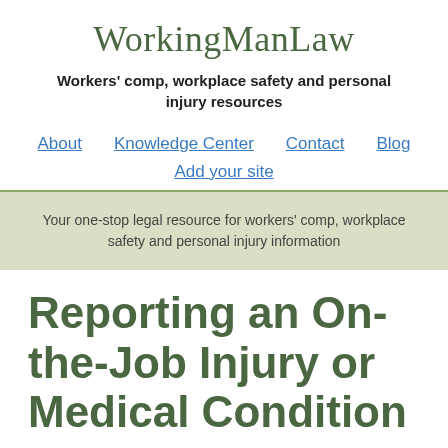WorkingManLaw
Workers' comp, workplace safety and personal injury resources
About   Knowledge Center   Contact   Blog
Add your site
Your one-stop legal resource for workers' comp, workplace safety and personal injury information
Reporting an On-the-Job Injury or Medical Condition